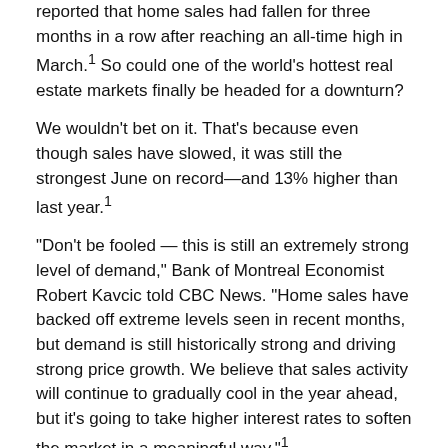reported that home sales had fallen for three months in a row after reaching an all-time high in March.¹ So could one of the world's hottest real estate markets finally be headed for a downturn?
We wouldn't bet on it. That's because even though sales have slowed, it was still the strongest June on record—and 13% higher than last year.¹
"Don't be fooled — this is still an extremely strong level of demand," Bank of Montreal Economist Robert Kavcic told CBC News. "Home sales have backed off extreme levels seen in recent months, but demand is still historically strong and driving strong price growth. We believe that sales activity will continue to gradually cool in the year ahead, but it's going to take higher interest rates to soften the market in a meaningful way."¹
So what can we expect from Canadian real estate? Here are five factors that illustrate where the housing market is today and is likely heading tomorrow.
HOME PRICE INCREASES MAY LEVEL OFF NEXT YEAR
The Canadian Real Estate Association predicts the